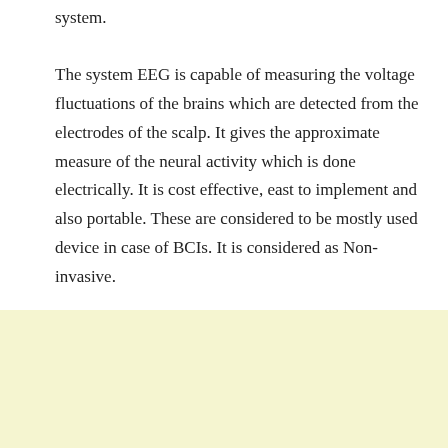system.
The system EEG is capable of measuring the voltage fluctuations of the brains which are detected from the electrodes of the scalp. It gives the approximate measure of the neural activity which is done electrically. It is cost effective, east to implement and also portable. These are considered to be mostly used device in case of BCIs. It is considered as Non-invasive.